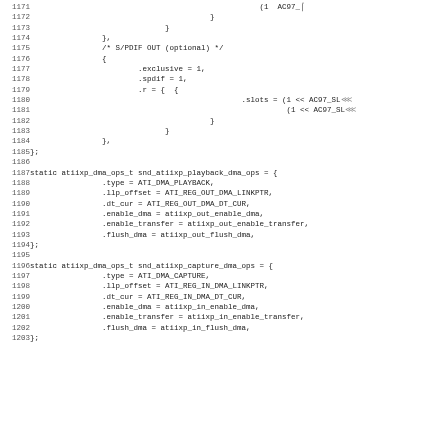Source code listing lines 1171-1203, C code for ATI IXP audio driver DMA operations structures